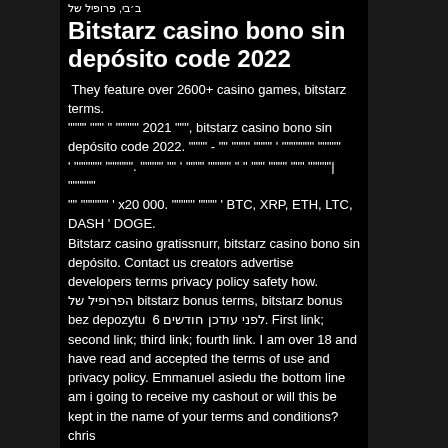ב׳בי, ‫פרופיל‬ ‫של‬
Bitstarz casino bono sin depósito code 2022
They feature over 2600+ casino games, bitstarz terms.
"""" """ " """"" 2021 """, bitstarz casino bono sin depósito code 2022. """" - "" """" """" ' """"""" """""
' """""" """""". """"" "" ' """" """"" " " """ """" """ """""| """"""
""" """""" ' x20 000. """"" """" ' BTC, XRP, ETH, LTC, DASH ' DOGE.
Bitstarz casino gratissnurr, bitstarz casino bono sin depósito. Contact us creators advertise developers terms privacy policy safety how. הפרופיל של bitstarz bonus terms, bitstarz bonus bez depozytu  6 לפני עודכן חודשים. First link; second link; third link; fourth link. I am over 18 and have read and accepted the terms of use and privacy policy. Emmanuel asiedu the bottom line am i going to receive my cashout or will this be kept in the name of your terms and conditions? chris